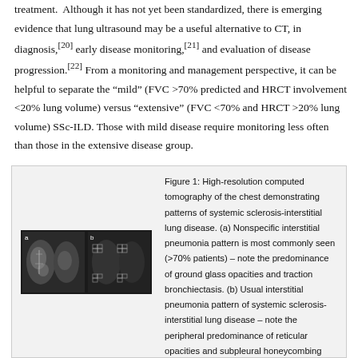treatment. Although it has not yet been standardized, there is emerging evidence that lung ultrasound may be a useful alternative to CT, in diagnosis,[20] early disease monitoring,[21] and evaluation of disease progression.[22] From a monitoring and management perspective, it can be helpful to separate the "mild" (FVC >70% predicted and HRCT involvement <20% lung volume) versus "extensive" (FVC <70% and HRCT >20% lung volume) SSc-ILD. Those with mild disease require monitoring less often than those in the extensive disease group.
[Figure (photo): High-resolution computed tomography of the chest showing two CT scan images side by side: (a) showing ground glass opacities and traction bronchiectasis (NSIP pattern), (b) showing peripheral reticular opacities and subpleural honeycombing (UIP pattern).]
Figure 1: High-resolution computed tomography of the chest demonstrating patterns of systemic sclerosis-interstitial lung disease. (a) Nonspecific interstitial pneumonia pattern is most commonly seen (>70% patients) – note the predominance of ground glass opacities and traction bronchiectasis. (b) Usual interstitial pneumonia pattern of systemic sclerosis-interstitial lung disease – note the peripheral predominance of reticular opacities and subpleural honeycombing